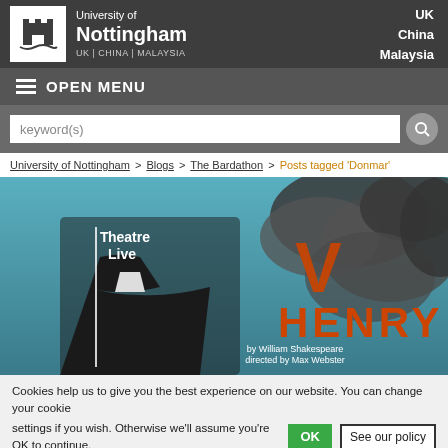University of Nottingham — UK | CHINA | MALAYSIA — UK, China, Malaysia navigation
OPEN MENU
keyword(s)
University of Nottingham > Blogs > The Bardathon > Posts tagged 'Donmar'
[Figure (photo): Theatre Live promotional image for Henry V by William Shakespeare, directed by Max Webster. Shows a man in a dark suit against a backdrop of smoke/clouds, with large orange-red text reading 'HENRY V'.]
Cookies help us to give you the best experience on our website. You can change your cookie settings if you wish. Otherwise we'll assume you're OK to continue.